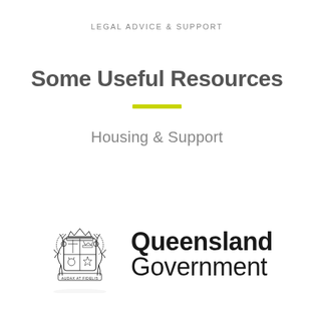LEGAL ADVICE & SUPPORT
Some Useful Resources
Housing & Support
[Figure (logo): Queensland Government crest (coat of arms) alongside bold text reading 'Queensland Government']